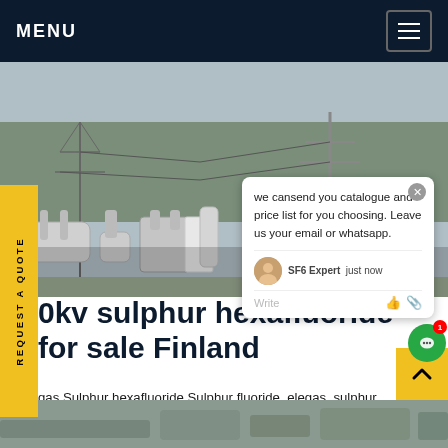MENU
[Figure (photo): Outdoor high-voltage electrical substation with transformer equipment, pipes, and transmission towers in background]
REQUEST A QUOTE
we cansend you catalogue and price list for you choosing. Leave us your email or whatsapp.
0kv sulphur hexafluoride for sale Finland
gas Sulphur hexafluoride Sulphur fluoride, elegas, sulphur hexafluoride sf6 gas 146,05 g/mol 219 854 2 (EINECS) 01 2119458769 17 0002. Specialized Get
[Figure (photo): Bottom image strip showing additional product or site photo]